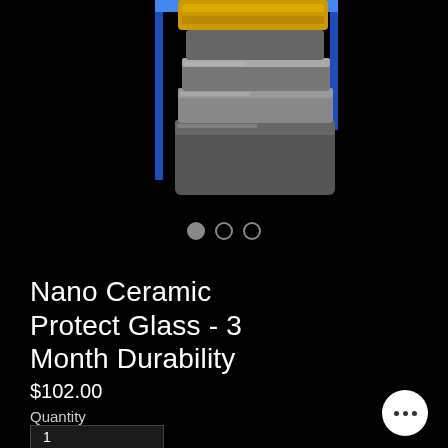[Figure (photo): Product photo of Nano Ceramic Protect Glass packaging - a metallic tin/box with blue packaging visible, shown against black background with blue border visible]
Nano Ceramic Protect Glass - 3 Month Durability
$102.00
Quantity
1